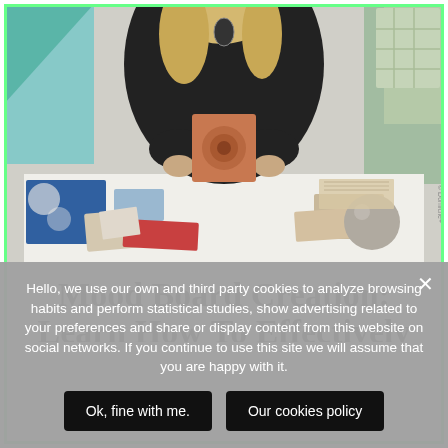[Figure (photo): A woman in a dark outfit standing behind a white table holding a terracotta-colored square object with a circular design. On the table are various material swatches — fabric, tile, stone samples in blue, red, pink, beige tones — and a round grey sphere. Background shows geometric shapes in teal and sage green. Small watermark text at right edge.]
Mood Board Creation: Learn How To Effectively
Hello, we use our own and third party cookies to analyze browsing habits and perform statistical studies, show advertising related to your preferences and share or display content from this website on social networks. If you continue to use this site we will assume that you are happy with it.